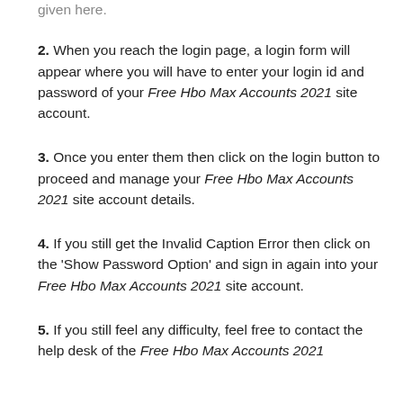given here.
2. When you reach the login page, a login form will appear where you will have to enter your login id and password of your Free Hbo Max Accounts 2021 site account.
3. Once you enter them then click on the login button to proceed and manage your Free Hbo Max Accounts 2021 site account details.
4. If you still get the Invalid Caption Error then click on the 'Show Password Option' and sign in again into your Free Hbo Max Accounts 2021 site account.
5. If you still feel any difficulty, feel free to contact the help desk of the Free Hbo Max Accounts 2021